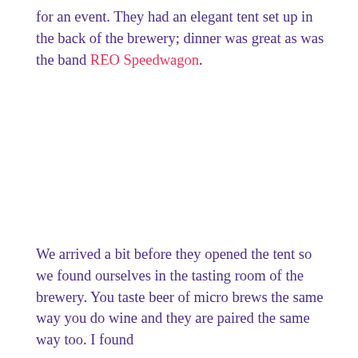for an event. They had an elegant tent set up in the back of the brewery; dinner was great as was the band REO Speedwagon.
We arrived a bit before they opened the tent so we found ourselves in the tasting room of the brewery. You taste beer of micro brews the same way you do wine and they are paired the same way too. I found